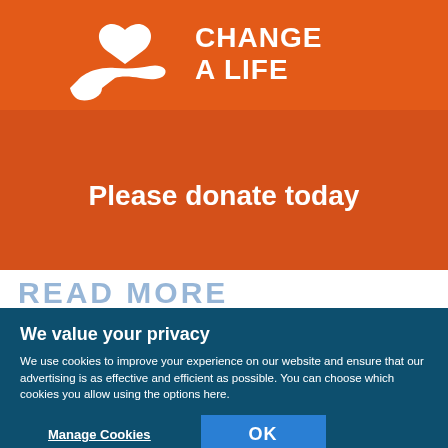[Figure (illustration): Orange charity banner with a white hand holding a heart icon and bold white text reading CHANGE A LIFE]
Please donate today
READ MORE
We value your privacy
We use cookies to improve your experience on our website and ensure that our advertising is as effective and efficient as possible. You can choose which cookies you allow using the options here.
Manage Cookies
OK